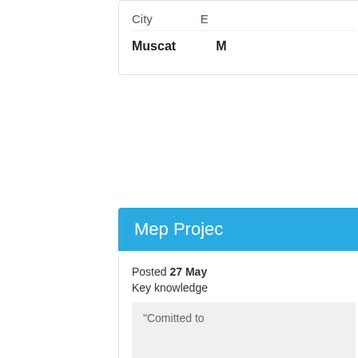| City |  |
| --- | --- |
| Muscat | M |
Mep Projec
Posted 27 May Key knowledge
"Comitted to
| City | E |
| --- | --- |
| Muscat | B |